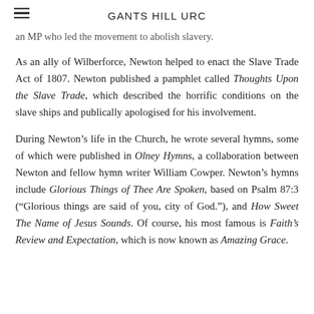GANTS HILL URC
an MP who led the movement to abolish slavery.
As an ally of Wilberforce, Newton helped to enact the Slave Trade Act of 1807. Newton published a pamphlet called Thoughts Upon the Slave Trade, which described the horrific conditions on the slave ships and publically apologised for his involvement.
During Newton’s life in the Church, he wrote several hymns, some of which were published in Olney Hymns, a collaboration between Newton and fellow hymn writer William Cowper. Newton’s hymns include Glorious Things of Thee Are Spoken, based on Psalm 87:3 (“Glorious things are said of you, city of God.”), and How Sweet The Name of Jesus Sounds. Of course, his most famous is Faith’s Review and Expectation, which is now known as Amazing Grace.